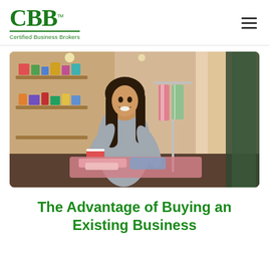CBB Certified Business Brokers
[Figure (photo): A smiling woman with long dark hair in a retail/clothing shop, reaching across a table with folded garments; clothing hangs on a rack in the background.]
The Advantage of Buying an Existing Business